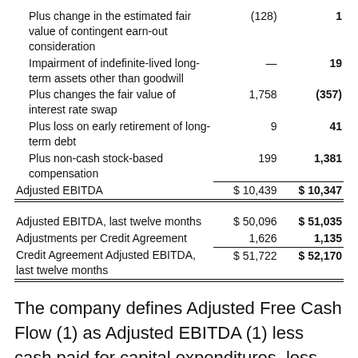|  | Col1 | Col2 |
| --- | --- | --- |
| Plus change in the estimated fair value of contingent earn-out consideration | (128) | 1 |
| Impairment of indefinite-lived long-term assets other than goodwill | — | 19 |
| Plus changes the fair value of interest rate swap | 1,758 | (357) |
| Plus loss on early retirement of long-term debt | 9 | 41 |
| Plus non-cash stock-based compensation | 199 | 1,381 |
| Adjusted EBITDA | $ 10,439 | $ 10,347 |
| Adjusted EBITDA, last twelve months | $ 50,096 | $ 51,035 |
| Adjustments per Credit Agreement | 1,626 | 1,135 |
| Credit Agreement Adjusted EBITDA, last twelve months | $ 51,722 | $ 52,170 |
The company defines Adjusted Free Cash Flow (1) as Adjusted EBITDA (1) less cash paid for capital expenditures, less cash paid for income